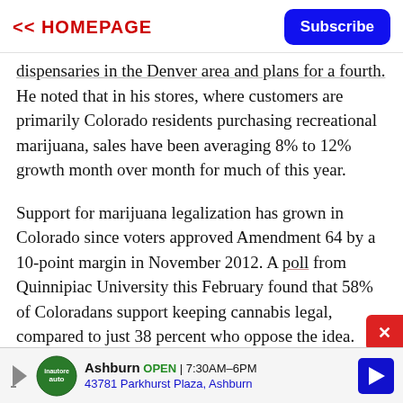<< HOMEPAGE | Subscribe
dispensaries in the Denver area and plans for a fourth. He noted that in his stores, where customers are primarily Colorado residents purchasing recreational marijuana, sales have been averaging 8% to 12% growth month over month for much of this year.
Support for marijuana legalization has grown in Colorado since voters approved Amendment 64 by a 10-point margin in November 2012. A poll from Quinnipiac University this February found that 58% of Coloradans support keeping cannabis legal, compared to just 38 percent who oppose the idea.
[Figure (infographic): Advertisement bar for Inautore Auto in Ashburn showing OPEN 7:30AM-6PM, 43781 Parkhurst Plaza, Ashburn with navigation arrow icon]